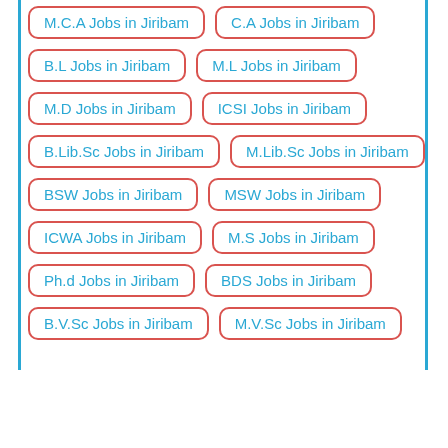M.C.A Jobs in Jiribam
C.A Jobs in Jiribam
B.L Jobs in Jiribam
M.L Jobs in Jiribam
M.D Jobs in Jiribam
ICSI Jobs in Jiribam
B.Lib.Sc Jobs in Jiribam
M.Lib.Sc Jobs in Jiribam
BSW Jobs in Jiribam
MSW Jobs in Jiribam
ICWA Jobs in Jiribam
M.S Jobs in Jiribam
Ph.d Jobs in Jiribam
BDS Jobs in Jiribam
B.V.Sc Jobs in Jiribam
M.V.Sc Jobs in Jiribam